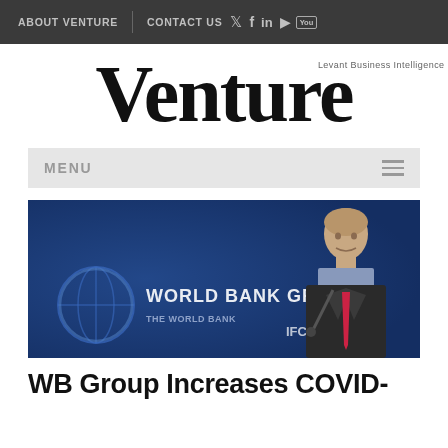ABOUT VENTURE | CONTACT US
Venture — Levant Business Intelligence
MENU
[Figure (photo): A man in a suit speaking at a World Bank Group podium with microphone, blue background with World Bank Group logo and IFC branding visible]
WB Group Increases COVID-